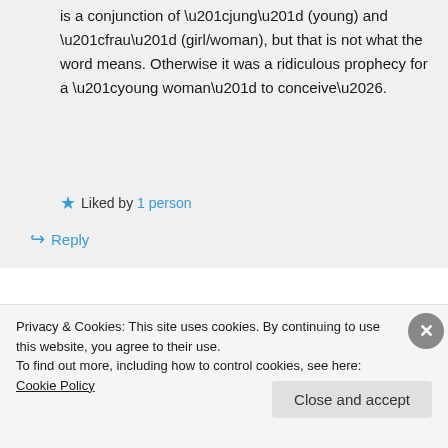is a conjunction of “jung” (young) and “frau” (girl/woman), but that is not what the word means. Otherwise it was a ridiculous prophecy for a “young woman” to conceive….
★ Liked by 1 person
↪ Reply
Privacy & Cookies: This site uses cookies. By continuing to use this website, you agree to their use.
To find out more, including how to control cookies, see here: Cookie Policy
Close and accept